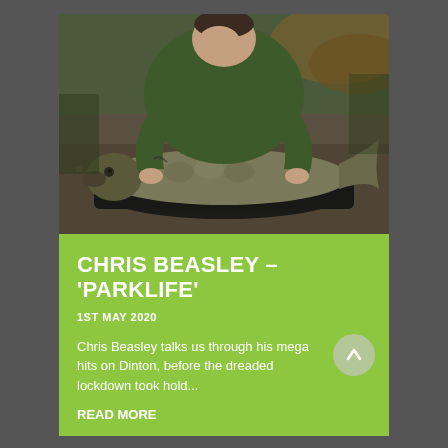[Figure (photo): A man in a green jacket leaning over and holding a large mirror carp fish on a black unhooking mat, on a gravel/leaf-covered ground with trees in background.]
CHRIS BEASLEY – 'PARKLIFE'
1ST MAY 2020
Chris Beasley talks us through his mega hits on Dinton, before the dreaded lockdown took hold...
READ MORE